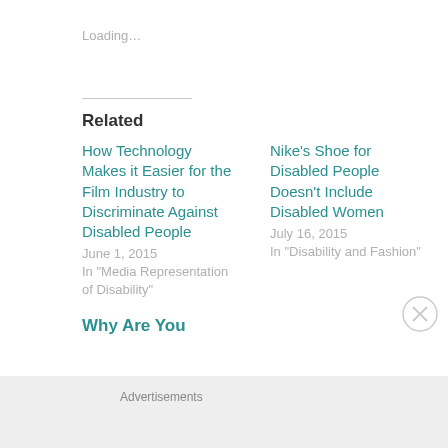Loading...
Related
How Technology Makes it Easier for the Film Industry to Discriminate Against Disabled People
June 1, 2015
In "Media Representation of Disability"
Nike's Shoe for Disabled People Doesn't Include Disabled Women
July 16, 2015
In "Disability and Fashion"
Why Are You
Advertisements